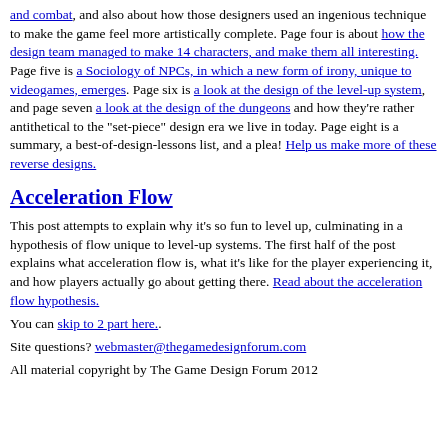and combat, and also about how those designers used an ingenious technique to make the game feel more artistically complete. Page four is about how the design team managed to make 14 characters, and make them all interesting. Page five is a Sociology of NPCs, in which a new form of irony, unique to videogames, emerges. Page six is a look at the design of the level-up system, and page seven a look at the design of the dungeons and how they're rather antithetical to the "set-piece" design era we live in today. Page eight is a summary, a best-of-design-lessons list, and a plea! Help us make more of these reverse designs.
Acceleration Flow
This post attempts to explain why it's so fun to level up, culminating in a hypothesis of flow unique to level-up systems. The first half of the post explains what acceleration flow is, what it's like for the player experiencing it, and how players actually go about getting there. Read about the acceleration flow hypothesis.
You can skip to 2 part here..
Site questions? webmaster@thegamedesignforum.com
All material copyright by The Game Design Forum 2012